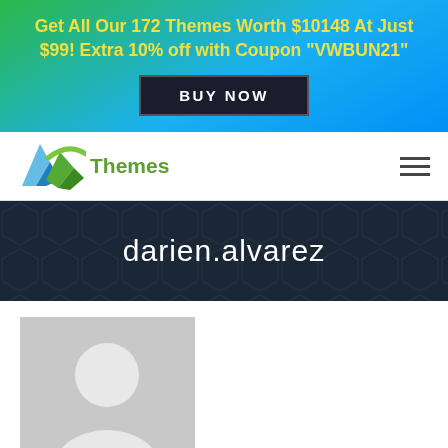Get All Our 172 Themes Worth $10148 At Just $99! Extra 10% off with Coupon "VWBUN21"
[Figure (logo): BUY NOW button on gradient banner]
[Figure (logo): VW Themes logo with blue/green chevron icon and Themes text]
darien.alvarez
[Figure (photo): Default user avatar placeholder image - grey background with silhouette of a person]